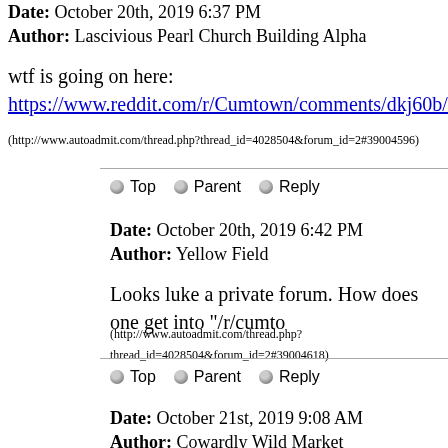Date: October 20th, 2019 6:37 PM
Author: Lascivious Pearl Church Building Alpha
wtf is going on here:
https://www.reddit.com/r/Cumtown/comments/dkj60b/aoc_pregnant
(http://www.autoadmit.com/thread.php?thread_id=4028504&forum_id=2#39004596)
Top  Parent  Reply
Date: October 20th, 2019 6:42 PM
Author: Yellow Field
Looks luke a private forum. How does one get into "/r/cumto
(http://www.autoadmit.com/thread.php?thread_id=4028504&forum_id=2#39004618)
Top  Parent  Reply
Date: October 21st, 2019 9:08 AM
Author: Cowardly Wild Market
Go directly Reddit forum login here?